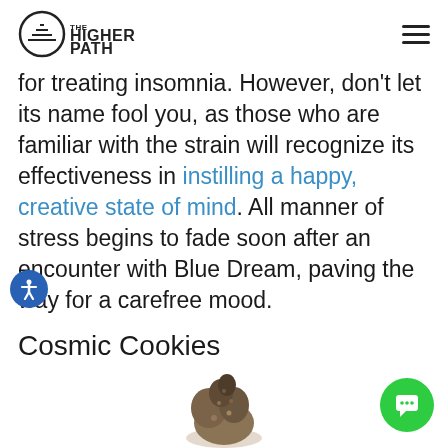THE HIGHER PATH
for treating insomnia. However, don't let its name fool you, as those who are familiar with the strain will recognize its effectiveness in instilling a happy, creative state of mind. All manner of stress begins to fade soon after an encounter with Blue Dream, paving the way for a carefree mood.
Cosmic Cookies
[Figure (photo): Close-up photo of a cannabis bud (Cosmic Cookies strain) on white background]